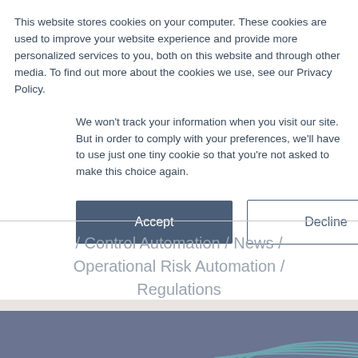This website stores cookies on your computer. These cookies are used to improve your website experience and provide more personalized services to you, both on this website and through other media. To find out more about the cookies we use, see our Privacy Policy.
We won't track your information when you visit our site. But in order to comply with your preferences, we'll have to use just one tiny cookie so that you're not asked to make this choice again.
Accept | Decline
/ Control Automation / News / Operational Risk Automation / Regulations